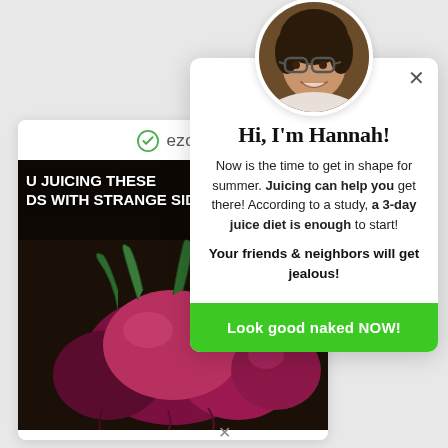[Figure (screenshot): Background article card with ezoic branding and beet/juicing article thumbnail image with text overlay reading 'U JUICING THESE DS WITH STRANGE SIDE EFFE']
[Figure (photo): Circular avatar photo of a young woman with glasses and dark hair, smiling]
Hi, I'm Hannah!
Now is the time to get in shape for summer. Juicing can help you get there! According to a study, a 3-day juice diet is enough to start!
Your friends & neighbors will get jealous!
Look good naked NOW!